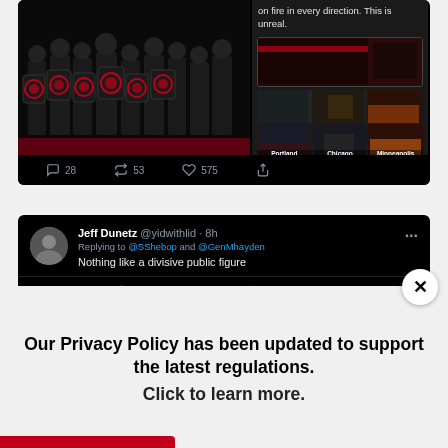[Figure (screenshot): Screenshot of a Twitter/X post showing a group of Antifa protesters in black with red emblems on shields, alongside a collage of city riot photos labeled Portland, Chicago, Minneapolis, with text 'on fire in every direction. This is unreal.' and engagement stats: 28 comments, 53 retweets, 575 likes]
[Figure (screenshot): Screenshot of a Twitter/X reply by Jeff Dunetz (@yidwithlid, 8h), replying to @SShebop and @GenMhayden: 'Nothing like a divisive public figure', with empty engagement icons]
[Figure (screenshot): Partial screenshot of another tweet by Kevin @stonkmarketkev dated Aug 22, cut off at the bottom]
Our Privacy Policy has been updated to support the latest regulations. Click to learn more.